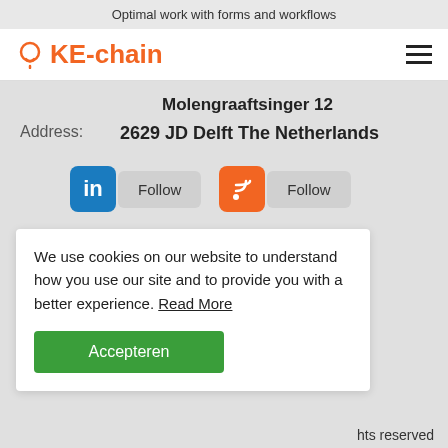Optimal work with forms and workflows
[Figure (logo): KE-chain logo with lightbulb icon in orange and text KE-chain]
Molengraaftsinger 12
Address:
2629 JD Delft The Netherlands
[Figure (infographic): LinkedIn Follow button and RSS Feed Follow button]
We use cookies on our website to understand how you use our site and to provide you with a better experience. Read More
Accepteren
hts reserved